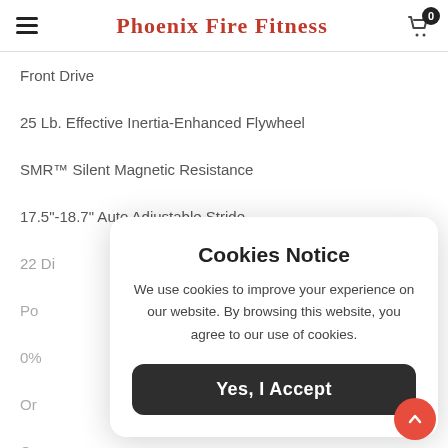Phoenix Fire Fitness
Front Drive
25 Lb. Effective Inertia-Enhanced Flywheel
SMR™ Silent Magnetic Resistance
17.5"-18.7" Auto Adjustable Stride
22 Digital Resistance Levels
Po...
0%...
Or...
Co...
Oversized Levelers
Cookies Notice

We use cookies to improve your experience on our website. By browsing this website, you agree to our use of cookies.

Yes, I Accept